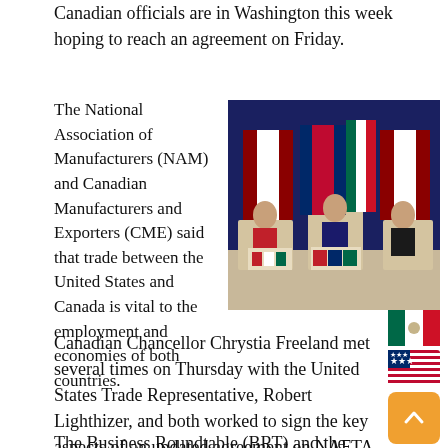Canadian officials are in Washington this week hoping to reach an agreement on Friday.
The National Association of Manufacturers (NAM) and Canadian Manufacturers and Exporters (CME) said that trade between the United States and Canada is vital to the employment and economies of both countries.
[Figure (photo): Three officials stand at podiums in front of Canadian, American, and Mexican flags at what appears to be a NAFTA negotiation press conference.]
[Figure (illustration): Mexican flag emoji]
[Figure (illustration): US flag emoji]
Canadian Chancellor Chrystia Freeland met several times on Thursday with the United States Trade Representative, Robert Lighthizer, and both worked to sign the key aspects of an updated agreement on NAFTA.
The Business Roundtable (BRT) and the Business Council of Canada